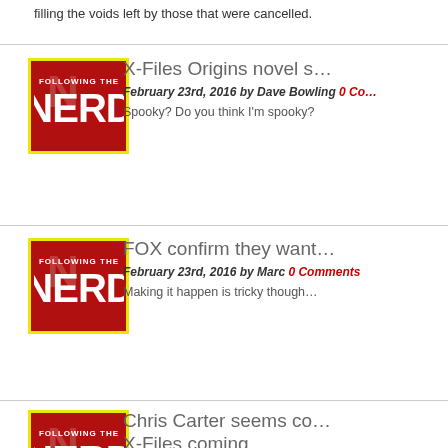filling the voids left by those that were cancelled.
[Figure (logo): Following The Nerd logo — white text on dark red background with yellow border]
X-Files Origins novel s…
February 23rd, 2016 by Dave Bowling 0 Co…
Spooky? Do you think I'm spooky?
[Figure (logo): Following The Nerd logo — white text on dark red background with yellow border]
FOX confirm they want…
February 23rd, 2016 by Marc 0 Comments
Making it happen is tricky though…
[Figure (logo): Following The Nerd logo — white text on dark red background with yellow border]
Chris Carter seems co… X-Files coming…